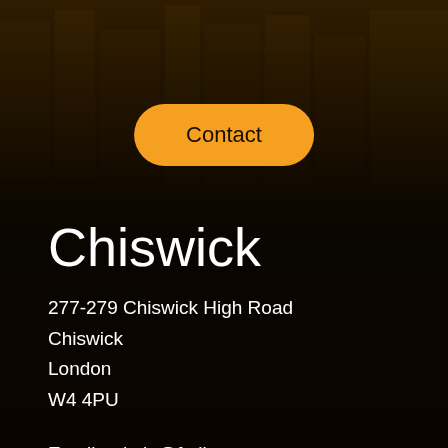Contact
Chiswick
277-279 Chiswick High Road
Chiswick
London
W4 4PU
Email: admin@fmllp.net
Tel: 0208 742 1015